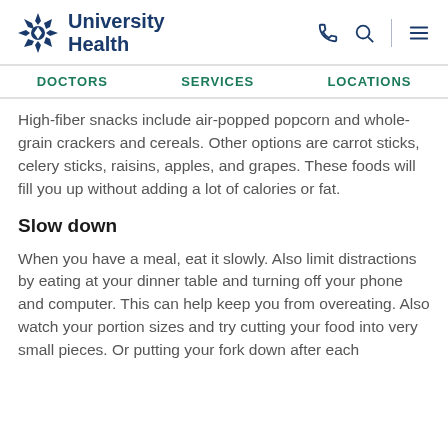University Health
DOCTORS   SERVICES   LOCATIONS
High-fiber snacks include air-popped popcorn and whole-grain crackers and cereals. Other options are carrot sticks, celery sticks, raisins, apples, and grapes. These foods will fill you up without adding a lot of calories or fat.
Slow down
When you have a meal, eat it slowly. Also limit distractions by eating at your dinner table and turning off your phone and computer. This can help keep you from overeating. Also watch your portion sizes and try cutting your food into very small pieces. Or putting your fork down after each